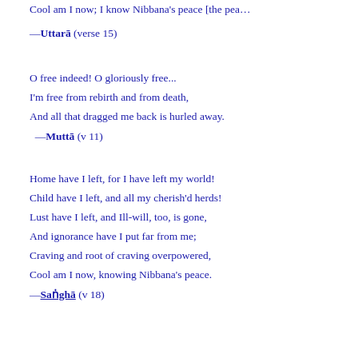Cool am I now; I know Nibbana’s peace [the pea…
—Uttarā (verse 15)
O free indeed! O gloriously free...
I’m free from rebirth and from death,
And all that dragged me back is hurled away.
—Muttā (v 11)
Home have I left, for I have left my world!
Child have I left, and all my cherish’d herds!
Lust have I left, and Ill-will, too, is gone,
And ignorance have I put far from me;
Craving and root of craving overpowered,
Cool am I now, knowing Nibbana’s peace.
—Saṅghā (v 18)